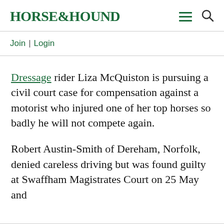HORSE&HOUND
Join | Login
Dressage rider Liza McQuiston is pursuing a civil court case for compensation against a motorist who injured one of her top horses so badly he will not compete again.
Robert Austin-Smith of Dereham, Norfolk, denied careless driving but was found guilty at Swaffham Magistrates Court on 25 May and